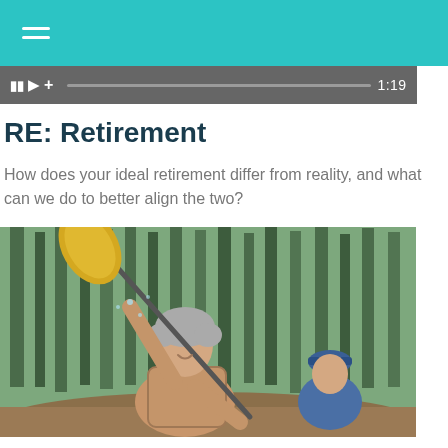[Figure (screenshot): Teal header bar with hamburger menu icon (three white lines)]
[Figure (screenshot): Video player control bar showing pause, play, plus buttons, progress bar, and timestamp 1:19]
RE: Retirement
How does your ideal retirement differ from reality, and what can we do to better align the two?
[Figure (photo): Smiling older woman holding a yellow kayak paddle in an outdoor forested setting, with an older man in a blue hat visible in the background]